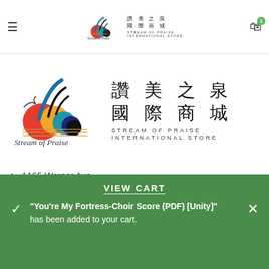Stream of Praise International Store navigation bar with logo, hamburger menu, and cart icon (1 item)
[Figure (logo): Stream of Praise International Store logo with Chinese characters 讚美之泉 國際商城 and STREAM OF PRAISE INTERNATIONAL STORE text]
1165 Warner Ave.
Tustin, CA 92780, USA
Phone: 1-714-258-1165
sales@sop.org
🔲🔲🔲🔲(🔲🔲🔲🔲🔲🔲
VIEW CART
"You're My Fortress-Choir Score (PDF) [Unity]" has been added to your cart.